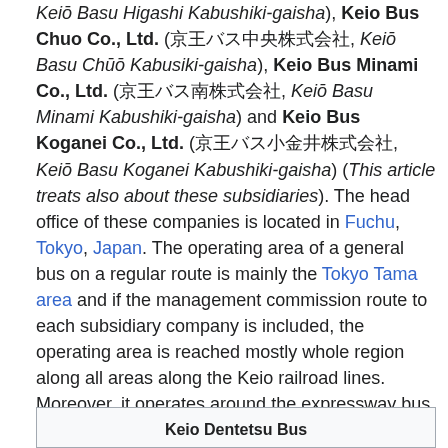Keiō Basu Higashi Kabushiki-gaisha), Keio Bus Chuo Co., Ltd. (京王バス中央株式会社, Keiō Basu Chūō Kabusiki-gaisha), Keio Bus Minami Co., Ltd. (京王バス南株式会社, Keiō Basu Minami Kabushiki-gaisha) and Keio Bus Koganei Co., Ltd. (京王バス小金井株式会社, Keiō Basu Koganei Kabushiki-gaisha) (This article treats also about these subsidiaries). The head office of these companies is located in Fuchu, Tokyo, Japan. The operating area of a general bus on a regular route is mainly the Tokyo Tama area and if the management commission route to each subsidiary company is included, the operating area is reached mostly whole region along all areas along the Keio railroad lines. Moreover, it operates around the expressway bus routes to Nagano Prefecture, Hida-Takayama, Miyagi Prefecture, etc. from Shinjuku.
| Keio Dentetsu Bus |
| --- |